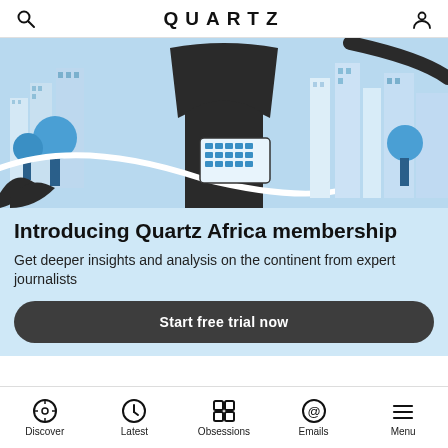QUARTZ
[Figure (illustration): Illustrated cityscape with blue and dark tones showing city buildings, trees, and a large arch shape in the center. Blue and white curving lines flow through the scene. Various people and architectural elements are visible.]
Introducing Quartz Africa membership
Get deeper insights and analysis on the continent from expert journalists
Start free trial now
Discover  Latest  Obsessions  Emails  Menu